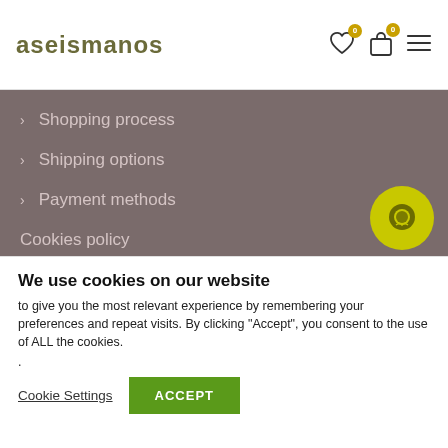aseismanos
> Shopping process
> Shipping options
> Payment methods
Cookies policy
Legal notice and conditions of use
Shop Privacy Policy
Contact us
[Figure (illustration): Yellow circular chat/support button with a chat bubble icon]
We use cookies on our website
to give you the most relevant experience by remembering your preferences and repeat visits. By clicking “Accept”, you consent to the use of ALL the cookies.
.
Cookie Settings   ACCEPT